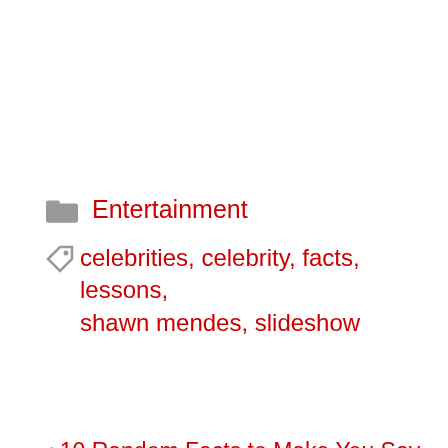Entertainment
celebrities, celebrity, facts, lessons, shawn mendes, slideshow
< 10 Random Facts to Make You Say “OMG!”
> 10 Fails on Twitter That Are Beyond Funny
Spon[sored] ... ain
[Figure (screenshot): Ad widget showing 'Search for' with two results: 1. 10 BEST GUITARS and 2. EASY GUITAR SONGS, with Business Focus branding]